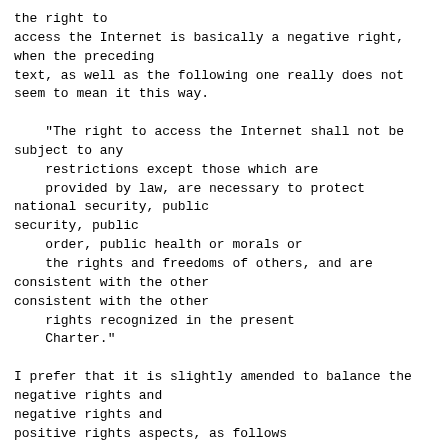the right to
access the Internet is basically a negative right, when the preceding
text, as well as the following one really does not seem to mean it this way.

    "The right to access the Internet shall not be subject to any
    restrictions except those which are
    provided by law, are necessary to protect national security, public
    order, public health or morals or
    the rights and freedoms of others, and are consistent with the other
    rights recognized in the present
    Charter."

I prefer that it is slightly amended to balance the negative rights and
positive rights aspects, as follows

    "The right to access the Internet *shall be ensured for all, and it
    *shall not be subject to any restrictions except those which are
    provided by law, are necessary to protect national security, public
    order, public health or morals or the rights and freedoms of others,
    and are consistent with the other rights recognized in the present